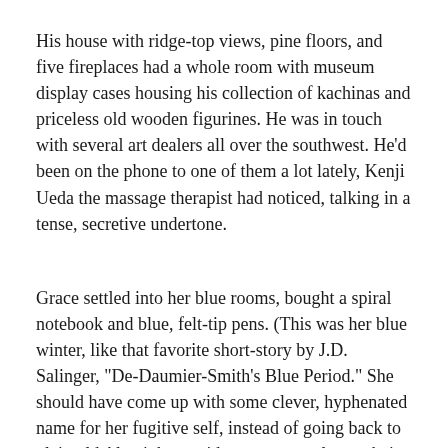His house with ridge-top views, pine floors, and five fireplaces had a whole room with museum display cases housing his collection of kachinas and priceless old wooden figurines. He was in touch with several art dealers all over the southwest. He'd been on the phone to one of them a lot lately, Kenji Ueda the massage therapist had noticed, talking in a tense, secretive undertone.
Grace settled into her blue rooms, bought a spiral notebook and blue, felt-tip pens. (This was her blue winter, like that favorite short-story by J.D. Salinger, "De-Daumier-Smith's Blue Period." She should have come up with some clever, hyphenated name for her fugitive self, instead of going back to plain old Alessi, her maiden name—no longer being what you'd call a maiden.) She started a haphazard diary. Wrote that she'd get her ducks in a row, muster her saints. Saint Francis and his birds. Santa Cecilia and her mandolin. San Pasquale and his long wooden spoon. Saint Jerome and his